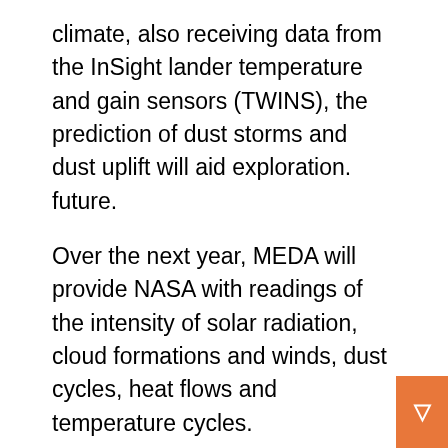climate, also receiving data from the InSight lander temperature and gain sensors (TWINS), the prediction of dust storms and dust uplift will aid exploration. future.
Over the next year, MEDA will provide NASA with readings of the intensity of solar radiation, cloud formations and winds, dust cycles, heat flows and temperature cycles.
MEDA, which contains environmental sensors, wakes up every hour to register more, regardless of Perseverance operations.
MORE NEWS: Universal Orlando Announces Jurassic World VelociCoaster Opening Date